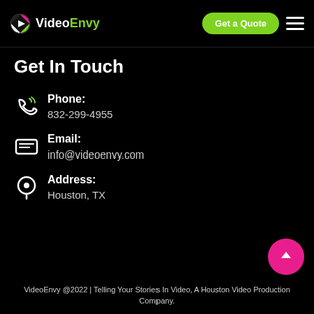VideoEnvy — Get a Quote
Get In Touch
Phone: 832-299-4955
Email: info@videoenvy.com
Address: Houston, TX
VideoEnvy @2022 | Telling Your Stories In Video, A Houston Video Production Company.